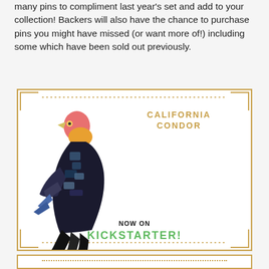many pins to compliment last year's set and add to your collection! Backers will also have the chance to purchase pins you might have missed (or want more of!) including some which have been sold out previously.
[Figure (illustration): Art Deco styled card featuring a California Condor enamel pin illustration on the left, with the title 'CALIFORNIA CONDOR' in gold Art Deco font and descriptive text on the right. Below is a 'NOW ON KICKSTARTER!' call to action.]
CALIFORNIA CONDOR
Though still critically endangered, the California Condor is a conservation success story. Once down to only 27 individual birds, thanks to dedicated efforts at breeding, protection, and release back to the wild there are now over 500 individuals alive today. With its 10 foot wingspan, the California Condor is the largest flying bird in North America.
NOW ON KICKSTARTER!